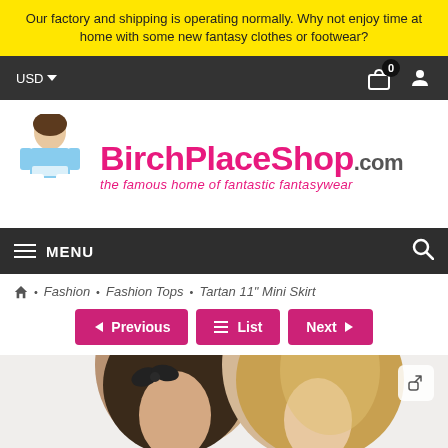Our factory and shipping is operating normally. Why not enjoy time at home with some new fantasy clothes or footwear?
[Figure (logo): BirchPlaceShop.com logo with tagline 'the famous home of fantastic fantasywear' and a female model in costume on the left]
MENU
Fashion • Fashion Tops • Tartan 11" Mini Skirt
Previous | List | Next
[Figure (photo): Two female models wearing fashion clothing, shown from the shoulders up]